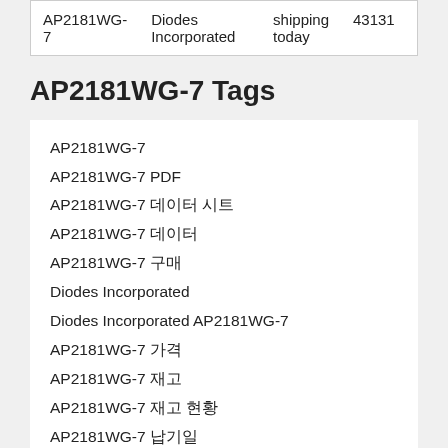|  |  |  |  |
| --- | --- | --- | --- |
| AP2181WG-7 | Diodes Incorporated | shipping today | 43131 |
AP2181WG-7 Tags
AP2181WG-7
AP2181WG-7 PDF
AP2181WG-7 데이터 시트
AP2181WG-7 데이터
AP2181WG-7 구매
Diodes Incorporated
Diodes Incorporated AP2181WG-7
AP2181WG-7 가격
AP2181WG-7 재고
AP2181WG-7 재고 현황
AP2181WG-7 납기일
AP2181WG-7 판매